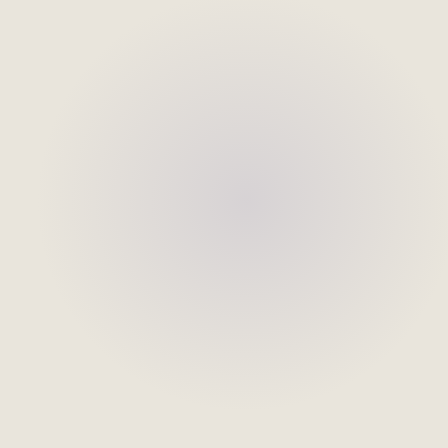the whole time - I think Ben would get a lot out of it after that first hard hour :)
Reply
Unknown 22 March 2019 at 21:35
This looks like great fun! My niece had lessons there before heading off to ski on a school trip and it really helped her. I'm more apres ski than slope bunny but I would give it as a gift for sure. Plus, I loved the vid- made me all warm and fuzzy inside seeing them all improve! xx
Reply
▾ Replies
Jenny @thebrickcastle 23 March 2019 at 10:53
Thank you so much! Videos take ages and you never know how much to put in, but I figured people need to see just how bad they were at first and how well they did at the end :D